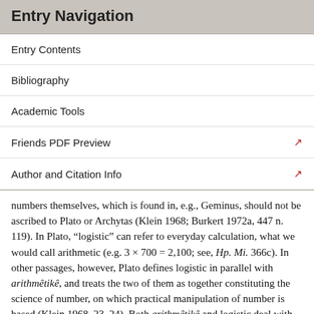Entry Navigation
Entry Contents
Bibliography
Academic Tools
Friends PDF Preview
Author and Citation Info
numbers themselves, which is found in, e.g., Geminus, should not be ascribed to Plato or Archytas (Klein 1968; Burkert 1972a, 447 n. 119). In Plato, “logistic” can refer to everyday calculation, what we would call arithmetic (e.g. 3 × 700 = 2,100; see, Hp. Mi. 366c). In other passages, however, Plato defines logistic in parallel with arithmêtêkê, and treats the two of them as together constituting the science of number, on which practical manipulation of number is based (Klein 1968, 23–24). Both arithmêtêkê and logistic deal with the even and the odd. Arithmêtêkê focuses not on quantities but on kinds of